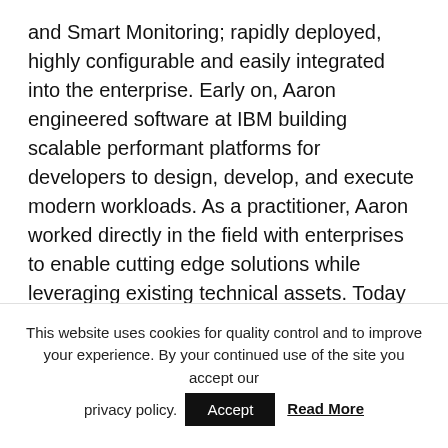and Smart Monitoring; rapidly deployed, highly configurable and easily integrated into the enterprise. Early on, Aaron engineered software at IBM building scalable performant platforms for developers to design, develop, and execute modern workloads. As a practitioner, Aaron worked directly in the field with enterprises to enable cutting edge solutions while leveraging existing technical assets. Today he provides a depth of expertise necessary to understand the challenges, opportunities and transitions required for large enterprises to digitize and engage with the IoT.
This website uses cookies for quality control and to improve your experience. By your continued use of the site you accept our privacy policy. Accept Read More